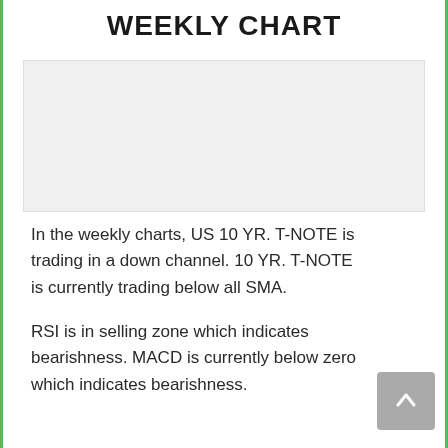WEEKLY CHART
[Figure (other): Weekly chart placeholder image area (chart content not visible)]
In the weekly charts, US 10 YR. T-NOTE is trading in a down channel. 10 YR. T-NOTE is currently trading below all SMA.
RSI is in selling zone which indicates bearishness. MACD is currently below zero which indicates bearishness.